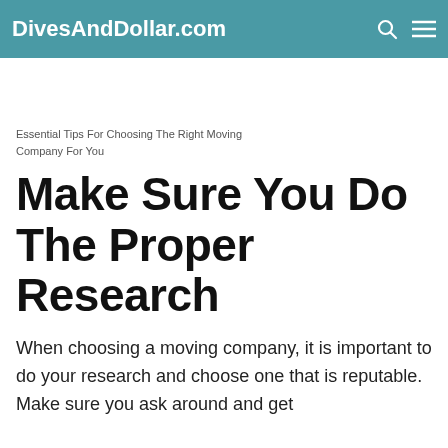DivesAndDollar.com
Essential Tips For Choosing The Right Moving Company For You
Make Sure You Do The Proper Research
When choosing a moving company, it is important to do your research and choose one that is reputable. Make sure you ask around and get